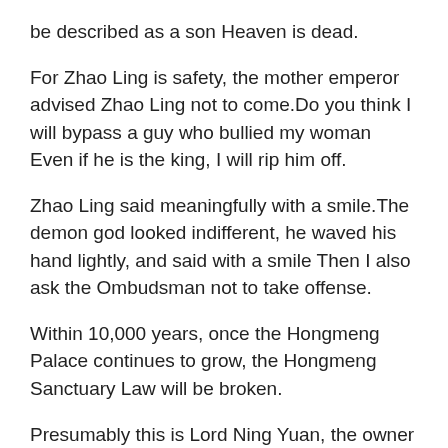be described as a son Heaven is dead.
For Zhao Ling is safety, the mother emperor advised Zhao Ling not to come.Do you think I will bypass a guy who bullied my woman Even if he is the king, I will rip him off.
Zhao Ling said meaningfully with a smile.The demon god looked indifferent, he waved his hand lightly, and said with a smile Then I also ask the Ombudsman not to take offense.
Within 10,000 years, once the Hongmeng Palace continues to grow, the Hongmeng Sanctuary Law will be broken.
Presumably this is Lord Ning Yuan, the owner of Cangjian Villa.Zhao Ling bowed his hands and asked with a smile.It is my servant.This lord does not have to be restrained.I will only stay here for a day and then leave.Ning Yuan smiled lightly and bowed his hands in return.This is the other high level executive